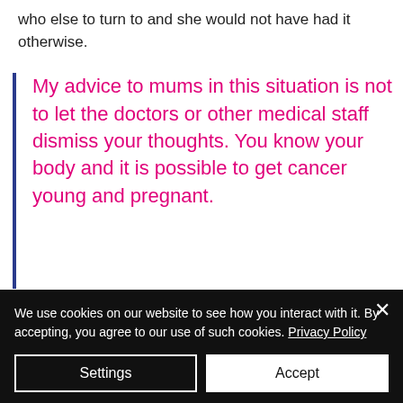who else to turn to and she would not have had it otherwise.
My advice to mums in this situation is not to let the doctors or other medical staff dismiss your thoughts. You know your body and it is possible to get cancer young and pregnant.
We use cookies on our website to see how you interact with it. By accepting, you agree to our use of such cookies. Privacy Policy